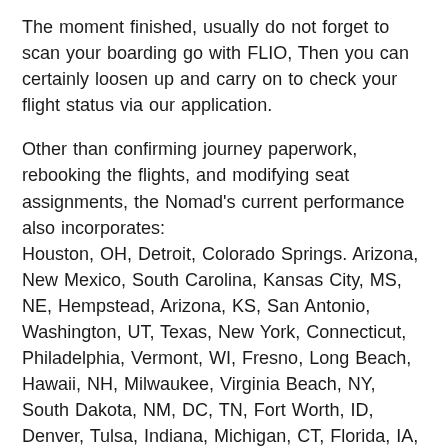The moment finished, usually do not forget to scan your boarding go with FLIO, Then you can certainly loosen up and carry on to check your flight status via our application.
Other than confirming journey paperwork, rebooking the flights, and modifying seat assignments, the Nomad's current performance also incorporates:
Houston, OH, Detroit, Colorado Springs. Arizona, New Mexico, South Carolina, Kansas City, MS, NE, Hempstead, Arizona, KS, San Antonio, Washington, UT, Texas, New York, Connecticut, Philadelphia, Vermont, WI, Fresno, Long Beach, Hawaii, NH, Milwaukee, Virginia Beach, NY, South Dakota, NM, DC, TN, Fort Worth, ID, Denver, Tulsa, Indiana, Michigan, CT, Florida, IA, Georgia, NV, Dallas, Portland, New Mexico, San Francisco, Missouri, Washington, RI, LA, New Orleans, Wyoming, Michigan, KY, ND, Maine, Arkansas, California, MA, MD, Virginia, Ohio, VA, CO, Delaware, CA, Washington, North Dakota, Minnesota, Oklahoma, ME, Wisconsin, Wisconsin, Hawaii, MI, North Carolina, Seattle, NY, Ohio, San Jose, AK, MN, Chicago, Tucson, Massachusetts, Utah, Oklahoma, Virginia, District of Columbia, Idaho, Charlotte, Oregon, OK, PA, Albuquerque, AL, New York, AR,